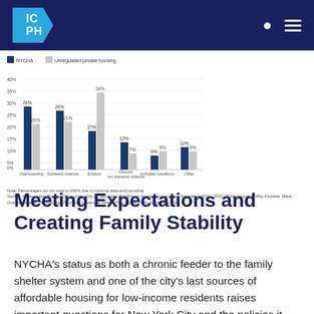ICPH
[Figure (grouped-bar-chart): ]
|  |  |  |  |
| --- | --- | --- | --- |
| Domestic violence (DV) | 26% | 21% | 2% |
| Eviction | 17% | 57% | 34% |
| Discord, not DV | 12% | 8% | 7% |
| Unlivable conditions | 6% | 5% | 8% |
| Other | 10% | 8% | 8% |
| Missing | 2% | 2% | 2% |
Note: Percentages do not total to 100% due to missing data and rounding. Source: Independent Budget Office of the City of New York, The Rising Number of Homeless Families in NYC, 2002–2012: A Look at Why Families Were Granted Shelter, the Housing They Had Lived in & Where They Come From, November 2014.
Meeting Expectations and Creating Family Stability
NYCHA's status as both a chronic feeder to the family shelter system and one of the city's last sources of affordable housing for low-income residents raises important questions for New York City and the policies it